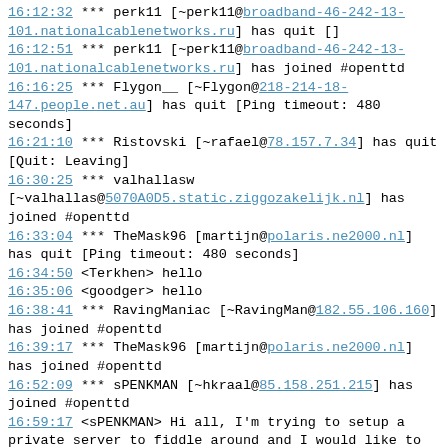16:12:32   *** perk11 [~perk11@broadband-46-242-13-101.nationalcablenetworks.ru] has quit []
16:12:51   *** perk11 [~perk11@broadband-46-242-13-101.nationalcablenetworks.ru] has joined #openttd
16:16:25   *** Flygon__ [~Flygon@218-214-18-147.people.net.au] has quit [Ping timeout: 480 seconds]
16:21:10   *** Ristovski [~rafael@78.157.7.34] has quit [Quit: Leaving]
16:30:25   *** valhallasw [~valhallas@5070A0D5.static.ziggozakelijk.nl] has joined #openttd
16:33:04   *** TheMask96 [martijn@polaris.ne2000.nl] has quit [Ping timeout: 480 seconds]
16:34:50   <Terkhen> hello
16:35:06   <goodger> hello
16:38:41   *** RavingManiac [~RavingMan@182.55.106.160] has joined #openttd
16:39:17   *** TheMask96 [martijn@polaris.ne2000.nl] has joined #openttd
16:52:09   *** sPENKMAN [~hkraal@85.158.251.215] has joined #openttd
16:59:17   <sPENKMAN> Hi all, I'm trying to setup a private server to fiddle around and I would like to enable the CityBuilder